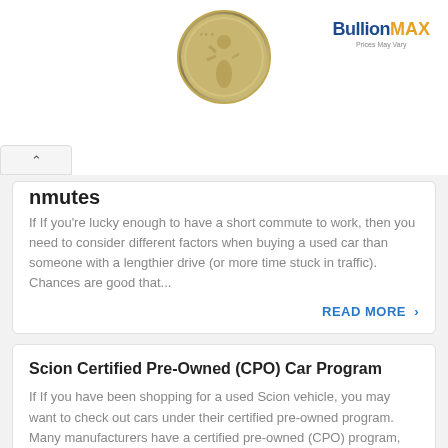[Figure (illustration): Advertisement banner with a silver dollar coin centered at top and BullionMAX logo at top right, with close and play controls at bottom left]
nmutes
If If you're lucky enough to have a short commute to work, then you need to consider different factors when buying a used car than someone with a lengthier drive (or more time stuck in traffic). Chances are good that...
READ MORE >
Scion Certified Pre-Owned (CPO) Car Program
If If you have been shopping for a used Scion vehicle, you may want to check out cars under their certified pre-owned program. Many manufacturers have a certified pre-owned (CPO) program, and each one is set up differently. Read on...
READ MORE >